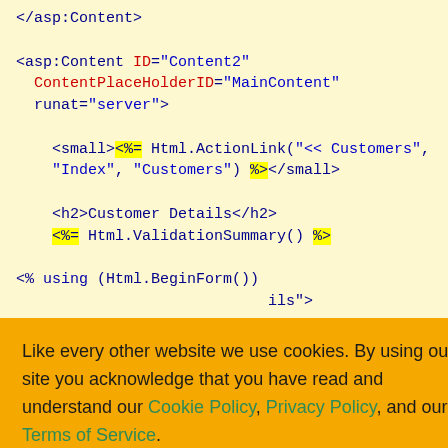[Figure (screenshot): Code editor screenshot showing ASP.NET/Razor MVC view code with syntax highlighting on a light yellow background. Code shows asp:Content tag with ContentPlaceHolderID MainContent, small tag with Html.ActionLink for Customers navigation, h2 Customer Details heading, Html.ValidationSummary call, Html.BeginForm call, and partial lines for customer details form. A cookie consent overlay banner is shown in orange covering the lower-left portion of the page with options: Ask me later, Decline, Allow cookies buttons.]